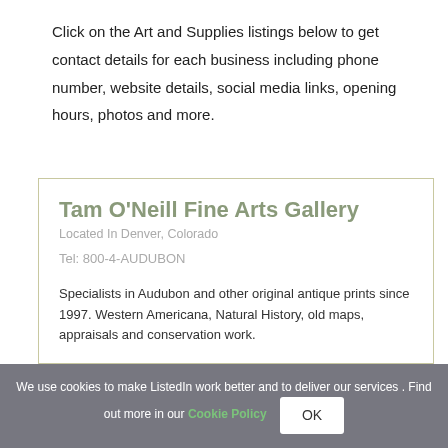Click on the Art and Supplies listings below to get contact details for each business including phone number, website details, social media links, opening hours, photos and more.
Tam O'Neill Fine Arts Gallery
Located In Denver, Colorado
Tel: 800-4-AUDUBON
Specialists in Audubon and other original antique prints since 1997. Western Americana, Natural History, old maps, appraisals and conservation work.
We use cookies to make ListedIn work better and to deliver our services . Find out more in our Cookie Policy OK